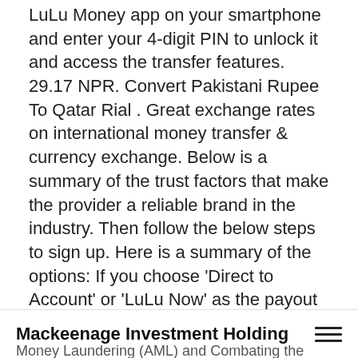LuLu Money app on your smartphone and enter your 4-digit PIN to unlock it and access the transfer features. 29.17 NPR. Convert Pakistani Rupee To Qatar Rial . Great exchange rates on international money transfer & currency exchange. Below is a summary of the trust factors that make the provider a reliable brand in the industry. Then follow the below steps to sign up. Here is a summary of the options: If you choose 'Direct to Account' or 'LuLu Now' as the payout methods, the funds will be deposited directly into the recipient's bank account. AED [UAE Dirham] PKR [Pakistani Rupee] 0.01 UAE Dirham = 0.436019 Pakistani Rupee: 0.1 UAE Dirham = 4.360189 Pakistani Rupee: 1 UAE Dirham = 43.601894 Pakistani Rupee Here, the margin is 1.08%; Sending funds from UAE to the Philippines: The LuLu Mobil...
Mackeenage Investment Holding
Money Laundering (AML) and Combating the